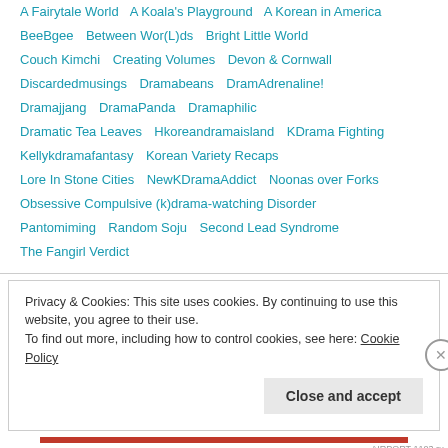A Fairytale World   A Koala's Playground   A Korean in America
BeeBgee   Between Wor(L)ds   Bright Little World
Couch Kimchi   Creating Volumes   Devon & Cornwall
Discardedmusings   Dramabeans   DramAdrenaline!
Dramajjang   DramaPanda   Dramaphilic
Dramatic Tea Leaves   Hkoreandramaisland   KDrama Fighting
Kellykdramafantasy   Korean Variety Recaps
Lore In Stone Cities   NewKDramaAddict   Noonas over Forks
Obsessive Compulsive (k)drama-watching Disorder
Pantomiming   Random Soju   Second Lead Syndrome
The Fangirl Verdict
Privacy & Cookies: This site uses cookies. By continuing to use this website, you agree to their use. To find out more, including how to control cookies, see here: Cookie Policy
Close and accept